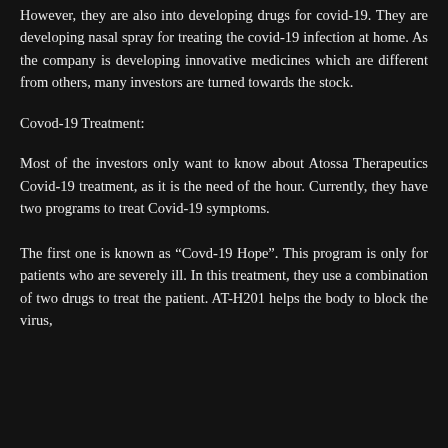However, they are also into developing drugs for covid-19. They are developing nasal spray for treating the covid-19 infection at home. As the company is developing innovative medicines which are different from others, many investors are turned towards the stock.
Covod-19 Treatment:
Most of the investors only want to know about Atossa Therapeutics Covid-19 treatment, as it is the need of the hour. Currently, they have two programs to treat Covid-19 symptoms.
The first one is known as “Covd-19 Hope”. This program is only for patients who are severely ill. In this treatment, they use a combination of two drugs to treat the patient. AT-H201 helps the body to block the virus, the...